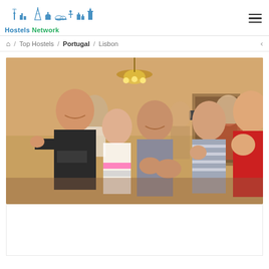[Figure (logo): Hostels Network logo with city skyline silhouette including Statue of Liberty, Eiffel Tower and other landmarks in blue tones]
Home / Top Hostels / Portugal / Lisbon
[Figure (photo): Group of young travelers posing happily indoors, some making hand gestures, wearing casual clothes, warm indoor lighting with a chandelier visible]